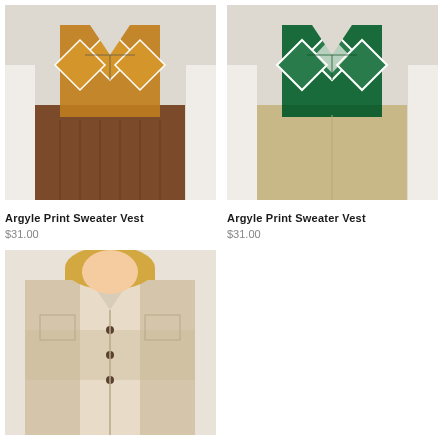[Figure (photo): Model wearing a tan/mustard argyle print sweater vest over a white long-sleeve shirt with a brown pleated skirt]
Argyle Print Sweater Vest
$31.00
[Figure (photo): Model wearing a green argyle print sweater vest over a white long-sleeve shirt with khaki/beige pants]
Argyle Print Sweater Vest
$31.00
[Figure (photo): Model with blonde hair wearing a cream and beige plaid/buffalo check oversized shacket with brown buttons]